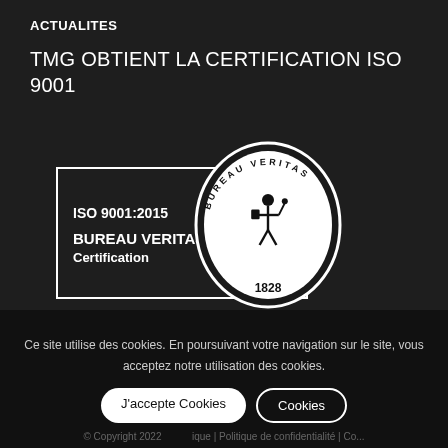ACTUALITES
TMG OBTIENT LA CERTIFICATION ISO 9001
[Figure (logo): Bureau Veritas ISO 9001:2015 certification logo. White rectangle with oval seal. Text: ISO 9001:2015, BUREAU VERITAS Certification, 1828. Figure of a person in the oval with BUREAU VERITAS text around it.]
Ce site utilise des cookies. En poursuivant votre navigation sur le site, vous acceptez notre utilisation des cookies.
J'accepte Cookies
Cookies
© Copyright 2022 ... | Politique de confidentialité | Co...